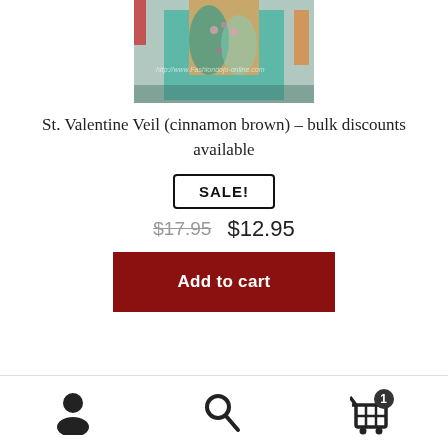[Figure (photo): Product photo of St. Valentine Veil in cinnamon brown color, showing a person wearing a teal/turquoise dress with long wavy hair]
St. Valentine Veil (cinnamon brown) – bulk discounts available
SALE!
$17.95  $12.95
Add to cart
Navigation bar with user icon, search icon, and cart icon with badge showing 1